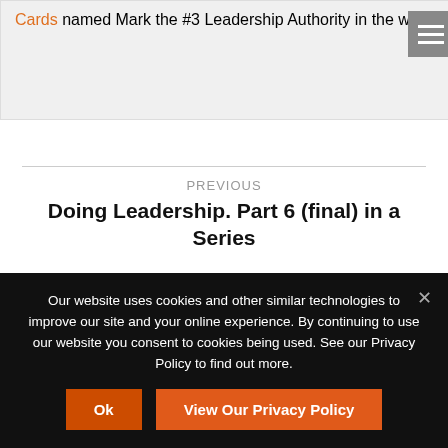Cards named Mark the #3 Leadership Authority in the world.
PREVIOUS
Doing Leadership. Part 6 (final) in a Series
NEXT
Our website uses cookies and other similar technologies to improve our site and your online experience. By continuing to use our website you consent to cookies being used. See our Privacy Policy to find out more.